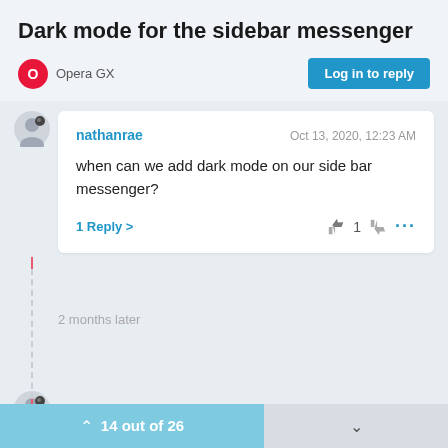Dark mode for the sidebar messenger
Opera GX
Log in to reply
nathanrae    Oct 13, 2020, 12:23 AM
when can we add dark mode on our side bar messenger?
1 Reply >   1   ...
2 months later
14 out of 26